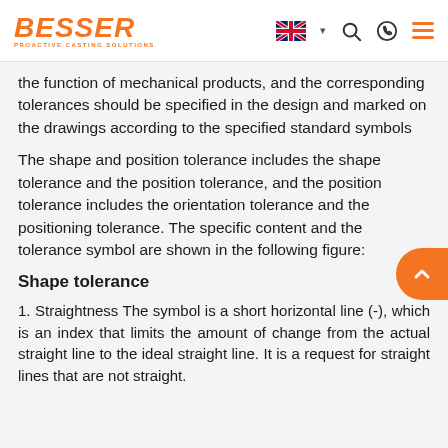BESSER PROACTIVE CASTING SOLUTIONS
the function of mechanical products, and the corresponding tolerances should be specified in the design and marked on the drawings according to the specified standard symbols
The shape and position tolerance includes the shape tolerance and the position tolerance, and the position tolerance includes the orientation tolerance and the positioning tolerance. The specific content and the tolerance symbol are shown in the following figure:
Shape tolerance
1. Straightness The symbol is a short horizontal line (-), which is an index that limits the amount of change from the actual straight line to the ideal straight line. It is a request for straight lines that are not straight.